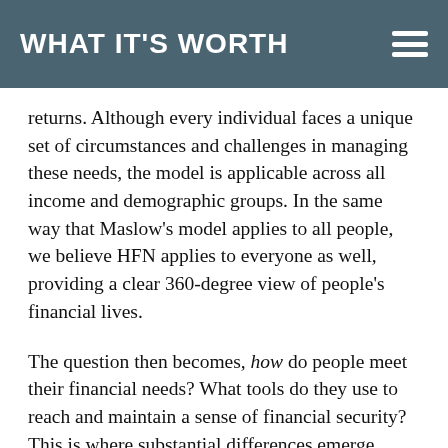WHAT IT'S WORTH
returns. Although every individual faces a unique set of circumstances and challenges in managing these needs, the model is applicable across all income and demographic groups. In the same way that Maslow's model applies to all people, we believe HFN applies to everyone as well, providing a clear 360-degree view of people's financial lives.
The question then becomes, how do people meet their financial needs? What tools do they use to reach and maintain a sense of financial security? This is where substantial differences emerge across income and demographic groups. High-income individuals manage their financial needs by using financial products in the marketplace, and significantly benefit from tax policies that create incentives to borrow and invest. Indeed, they